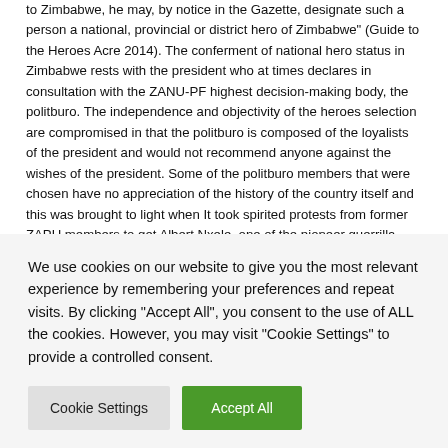to Zimbabwe, he may, by notice in the Gazette, designate such a person a national, provincial or district hero of Zimbabwe" (Guide to the Heroes Acre 2014). The conferment of national hero status in Zimbabwe rests with the president who at times declares in consultation with the ZANU-PF highest decision-making body, the politburo. The independence and objectivity of the heroes selection are compromised in that the politburo is composed of the loyalists of the president and would not recommend anyone against the wishes of the president. Some of the politburo members that were chosen have no appreciation of the history of the country itself and this was brought to light when It took spirited protests from former ZAPU members to get Albert Nxele, one of the pioneer guerrilla fighters, considered for national hero status. Some ZANU members did not even know who he was (The Independent, 12 October 2007). On numerous occasions especially during the Mugabe regime, the president would declare heroes himself without consulting anyone. Mugabe and ZANU PF
We use cookies on our website to give you the most relevant experience by remembering your preferences and repeat visits. By clicking "Accept All", you consent to the use of ALL the cookies. However, you may visit "Cookie Settings" to provide a controlled consent.